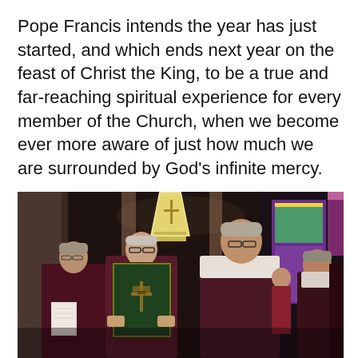Pope Francis intends the year has just started, and which ends next year on the feast of Christ the King, to be a true and far-reaching spiritual experience for every member of the Church, when we become ever more aware of just how much we are surrounded by God's infinite mercy.
[Figure (photo): A Catholic religious procession inside a church. A person in purple vestments holds up a large dark green Gospel book with a cross emblem on the cover. A bishop wearing a tall white and gold mitre (ceremonial headdress) stands behind. Other clergy in purple and white vestments are visible around them. A colorful icon or banner is visible in the background.]